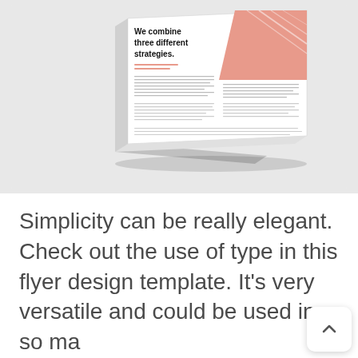[Figure (photo): A 3D mockup of a white booklet/flyer lying on a light gray surface. The booklet cover shows bold black text reading 'We combine three different strategies.' with a salmon/terracotta colored graphic element on the right side and some text columns visible.]
Simplicity can be really elegant. Check out the use of type in this flyer design template. It's very versatile and could be used in so many design situations.